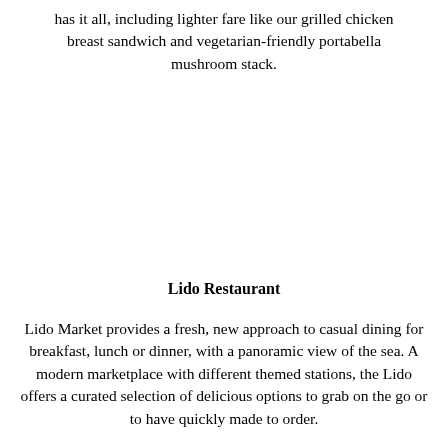has it all, including lighter fare like our grilled chicken breast sandwich and vegetarian-friendly portabella mushroom stack.
Lido Restaurant
Lido Market provides a fresh, new approach to casual dining for breakfast, lunch or dinner, with a panoramic view of the sea. A modern marketplace with different themed stations, the Lido offers a curated selection of delicious options to grab on the go or to have quickly made to order.